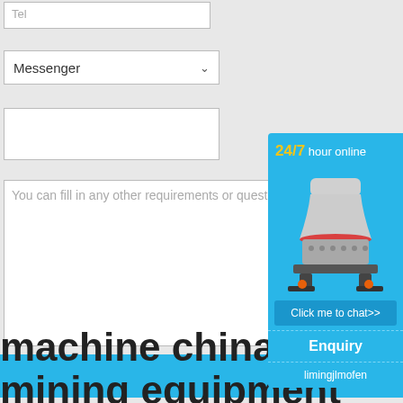Tel
Messenger
You can fill in any other requirements or questions
Order Now
[Figure (infographic): 24/7 hour online chat widget with a cone crusher machine image, Click me to chat>> button, Enquiry section, and limingjlmofen section on a blue background]
machine china gol
mining equipment